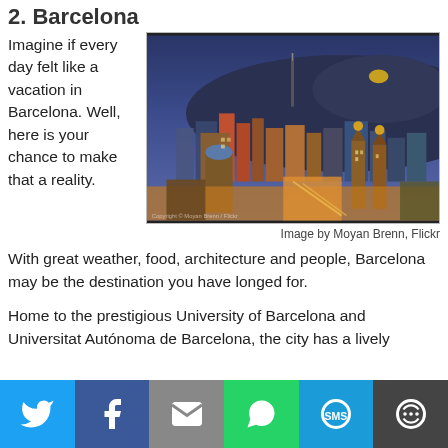2. Barcelona
Imagine if every day felt like a vacation in Barcelona. Well, here is your chance to make that a reality.
[Figure (photo): Aerial nighttime cityscape of Barcelona showing illuminated skyline with towers, colorful city lights, and blue hills in the background.]
Image by Moyan Brenn, Flickr
With great weather, food, architecture and people, Barcelona may be the destination you have longed for.
Home to the prestigious University of Barcelona and Universitat Autónoma de Barcelona, the city has a lively